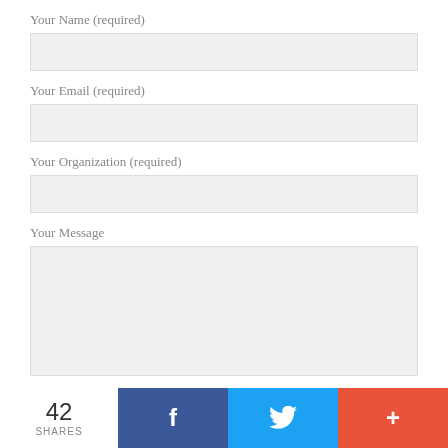Your Name (required)
Your Email (required)
Your Organization (required)
Your Message
[Figure (screenshot): Social sharing footer bar with share count 42, Facebook button (blue), Twitter button (light blue), and plus/more button (red-orange)]